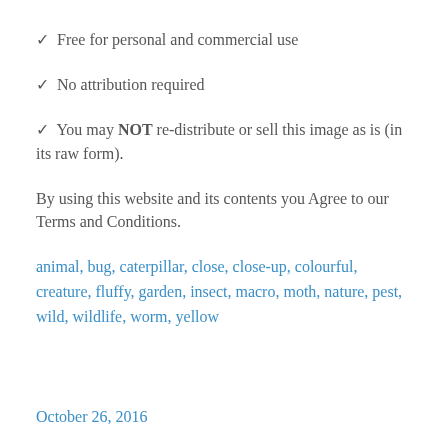✓  Free for personal and commercial use
✓  No attribution required
✓  You may NOT re-distribute or sell this image as is (in its raw form).
By using this website and its contents you Agree to our Terms and Conditions.
animal, bug, caterpillar, close, close-up, colourful, creature, fluffy, garden, insect, macro, moth, nature, pest, wild, wildlife, worm, yellow
October 26, 2016